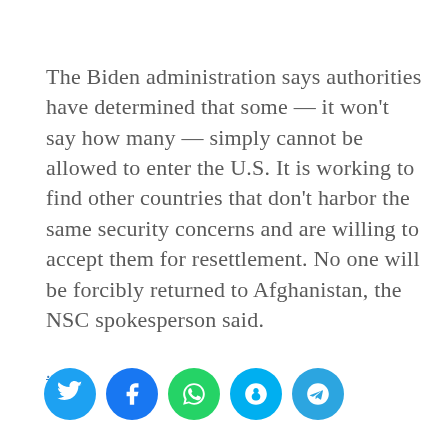The Biden administration says authorities have determined that some — it won't say how many — simply cannot be allowed to enter the U.S. It is working to find other countries that don't harbor the same security concerns and are willing to accept them for resettlement. No one will be forcibly returned to Afghanistan, the NSC spokesperson said.
...
[Figure (other): Social media share icons: Twitter, Facebook, WhatsApp, Skype, Telegram]